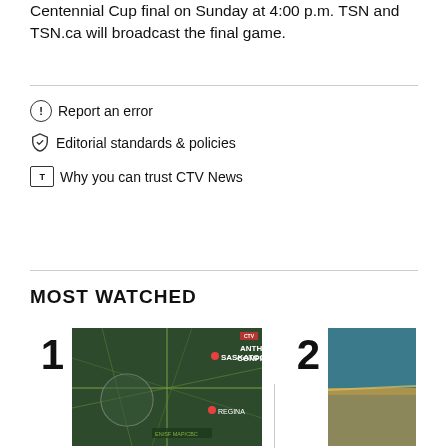Centennial Cup final on Sunday at 4:00 p.m. TSN and TSN.ca will broadcast the final game.
Report an error
Editorial standards & policies
Why you can trust CTV News
MOST WATCHED
[Figure (screenshot): Map screenshot showing Anthrax Confirmed news graphic with locations of Saskatoon and Regina marked, ranked #1 in most watched]
[Figure (photo): Partial thumbnail of video ranked #2 in most watched, showing a coastal/water scene]